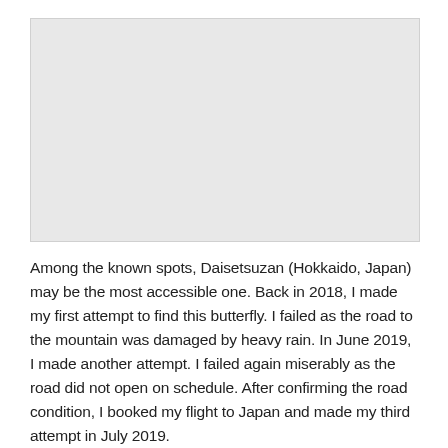[Figure (photo): A large light gray placeholder image area occupying the upper portion of the page.]
Among the known spots, Daisetsuzan (Hokkaido, Japan) may be the most accessible one. Back in 2018, I made my first attempt to find this butterfly. I failed as the road to the mountain was damaged by heavy rain. In June 2019, I made another attempt. I failed again miserably as the road did not open on schedule. After confirming the road condition, I booked my flight to Japan and made my third attempt in July 2019.